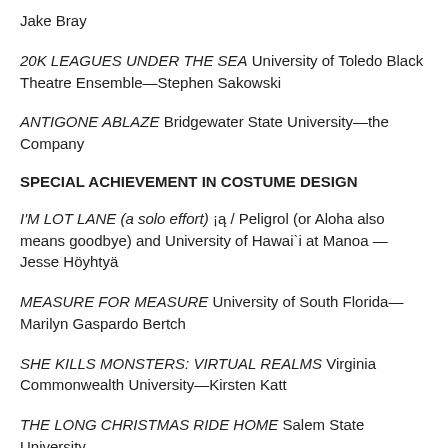Jake Bray
20K LEAGUES UNDER THE SEA University of Toledo Black Theatre Ensemble—Stephen Sakowski
ANTIGONE ABLAZE Bridgewater State University—the Company
SPECIAL ACHIEVEMENT IN COSTUME DESIGN
I'M LOT LANE (a solo effort) ¡ / Peligro (or Aloha also means goodbye) and University of Hawai`i at Manoa — Jesse Höyhtyä
MEASURE FOR MEASURE University of South Florida—Marilyn Gaspardo Bertch
SHE KILLS MONSTERS: VIRTUAL REALMS Virginia Commonwealth University—Kirsten Katt
THE LONG CHRISTMAS RIDE HOME Salem State University